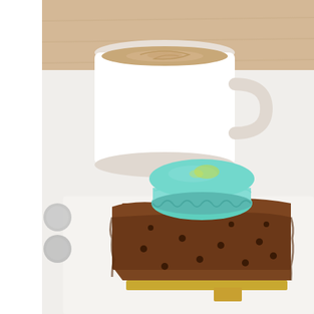[Figure (photo): A photograph of a chocolate glazed petit four/cake decorated with small chocolate chips, topped with a teal/mint green macaron, placed on a gold cardboard base on a white surface. In the background, a large white ceramic coffee mug with latte art is visible on a light wooden table. On the left edge of the photo, partial images of what appear to be circular metal objects (coins or buttons) are visible.]